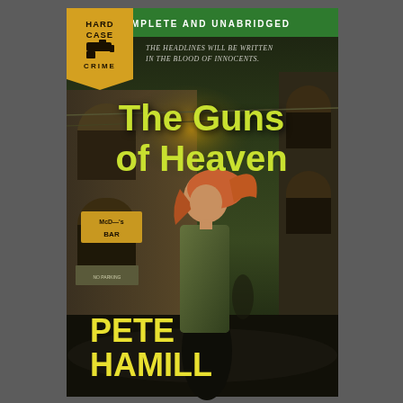[Figure (illustration): Book cover for 'The Guns of Heaven' by Pete Hamill, published by Hard Case Crime. Features a painted noir illustration of a woman with flowing red hair walking on a dark city street at night, with brick buildings, arched windows, a bar sign, and atmospheric lighting. The Hard Case Crime badge is in the top left corner with a gold/yellow pennant shape, text 'HARD CASE CRIME' and a gun icon. Green banner across the top reads 'COMPLETE AND UNABRIDGED'. Tagline reads 'THE HEADLINES WILL BE WRITTEN IN THE BLOOD OF INNOCENTS.' Book title 'The Guns of Heaven' appears in yellow-green. Author name 'PETE HAMILL' appears in yellow at the bottom left.]